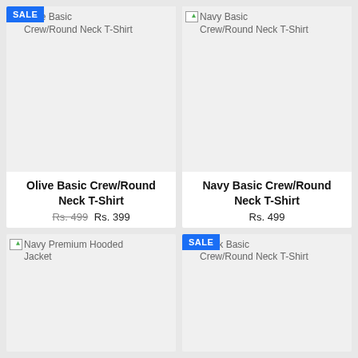[Figure (photo): Olive Basic Crew/Round Neck T-Shirt product card with SALE badge, broken image placeholder]
Olive Basic Crew/Round Neck T-Shirt
Rs. 499 Rs. 399
[Figure (photo): Navy Basic Crew/Round Neck T-Shirt product card, broken image placeholder]
Navy Basic Crew/Round Neck T-Shirt
Rs. 499
[Figure (photo): Navy Premium Hooded Jacket product card, broken image placeholder]
[Figure (photo): Black Basic Crew/Round Neck T-Shirt product card with SALE badge, broken image placeholder]